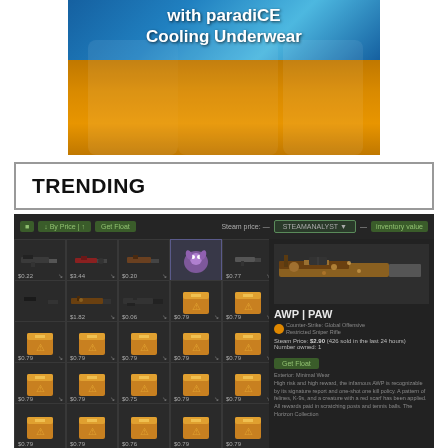[Figure (photo): Advertisement image showing people wearing orange underwear with text 'with paradiCE Cooling Underwear' overlaid on a blue and orange background]
TRENDING
[Figure (screenshot): Screenshot of a Steam/CS:GO item trading website showing a grid of weapon skins and crates. Items visible include weapons and gold crates priced around $0.22 to $3.44. Right panel shows AWP | PAW item details with Steam Price $2.90 (426 sold in last 24 hours), Number owned: 1. Description mentions Counter-Strike: Global Offensive, Restricted Sniper Rifle, Exterior: Minimal Wear, and describes the AWP paw design from the Horizon Collection.]